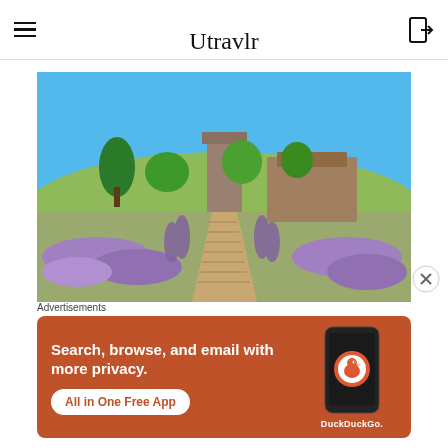Utravlr — Reclaiming luxury travel
[Figure (photo): Lavender-lined stone stairway leading up to a rustic hillside estate with tower and trees under a clear blue sky]
Advertisements
[Figure (screenshot): DuckDuckGo advertisement banner: Search, browse, and email with more privacy. All in One Free App. DuckDuckGo logo with phone graphic.]